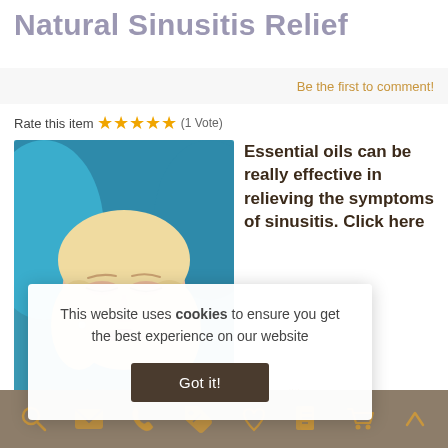Natural Sinusitis Relief
Be the first to comment!
Rate this item ★★★★★ (1 Vote)
[Figure (photo): Woman with blonde hair and closed eyes, draped in a blue towel, looking serene]
Essential oils can be really effective in relieving the symptoms of sinusitis. Click here for an all natural remedy that helps clear up this horrible condition.
This website uses cookies to ensure you get the best experience on our website
Got it!
natural remedy that helps clear up this horrible condition.